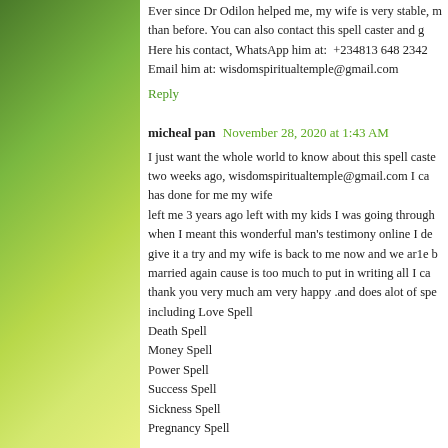Ever since Dr Odilon helped me, my wife is very stable, more loving than before. You can also contact this spell caster and get your help. Here his contact, WhatsApp him at:  +234813 648 2342 Email him at: wisdomspiritualtemple@gmail.com
Reply
micheal pan  November 28, 2020 at 1:43 AM
I just want the whole world to know about this spell caster two weeks ago, wisdomspiritualtemple@gmail.com I ca has done for me my wife left me 3 years ago left with my kids I was going through when I meant this wonderful man's testimony online I de give it a try and my wife is back to me now and we ar1e married again cause is too much to put in writing all I ca thank you very much am very happy .and does alot of spe including Love Spell Death Spell Money Spell Power Spell Success Spell Sickness Spell Pregnancy Spell